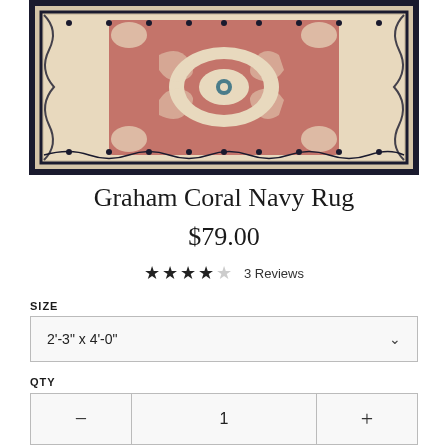[Figure (photo): A Persian-style area rug with coral/pink center medallion, cream and navy border, intricate floral and scroll patterns throughout.]
Graham Coral Navy Rug
$79.00
★★★★☆ 3 Reviews
SIZE
2'-3" x 4'-0"
QTY
− 1 +